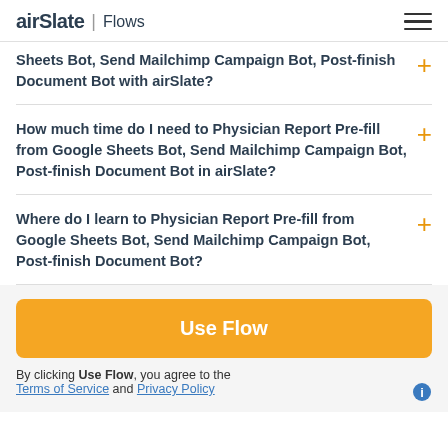airSlate | Flows
Sheets Bot, Send Mailchimp Campaign Bot, Post-finish Document Bot with airSlate?
How much time do I need to Physician Report Pre-fill from Google Sheets Bot, Send Mailchimp Campaign Bot, Post-finish Document Bot in airSlate?
Where do I learn to Physician Report Pre-fill from Google Sheets Bot, Send Mailchimp Campaign Bot, Post-finish Document Bot?
Use Flow
By clicking Use Flow, you agree to the Terms of Service and Privacy Policy